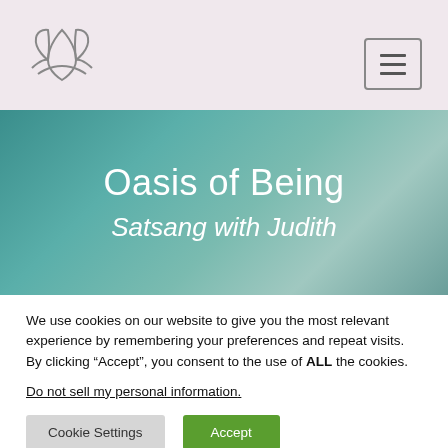[Figure (logo): Lotus flower icon in outline style, grey stroke, placed in top-left of header]
[Figure (other): Hamburger menu button (three horizontal lines) in a rounded rectangle border, top-right of header]
Oasis of Being
Satsang with Judith
We use cookies on our website to give you the most relevant experience by remembering your preferences and repeat visits. By clicking “Accept”, you consent to the use of ALL the cookies.
Do not sell my personal information.